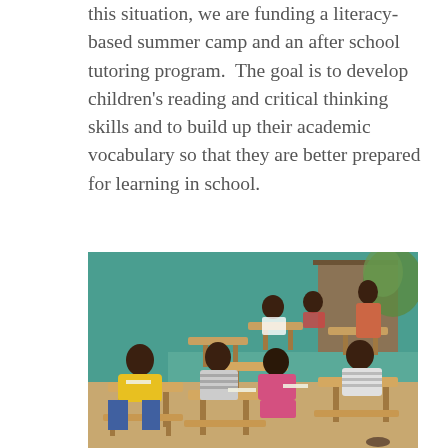this situation, we are funding a literacy-based summer camp and an after school tutoring program.  The goal is to develop children's reading and critical thinking skills and to build up their academic vocabulary so that they are better prepared for learning in school.
[Figure (photo): Photograph of children sitting at wooden desks in a classroom with teal/green walls, working on schoolwork. A teacher figure is visible at the back. Children are wearing colorful clothing including a yellow shirt and pink outfit.]